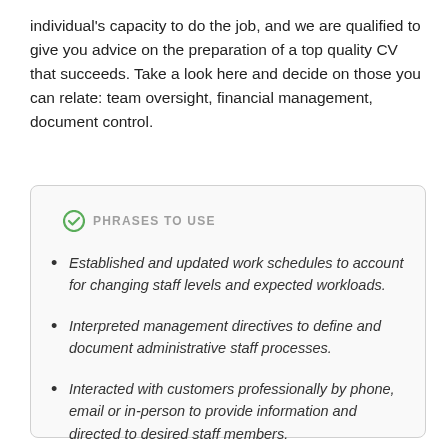individual's capacity to do the job, and we are qualified to give you advice on the preparation of a top quality CV that succeeds. Take a look here and decide on those you can relate: team oversight, financial management, document control.
PHRASES TO USE
Established and updated work schedules to account for changing staff levels and expected workloads.
Interpreted management directives to define and document administrative staff processes.
Interacted with customers professionally by phone, email or in-person to provide information and directed to desired staff members.